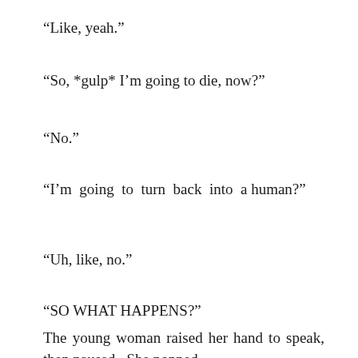“Like, yeah.”
“So, *gulp* I’m going to die, now?”
“No.”
“I’m going to turn back into a human?”
“Uh, like, no.”
“SO WHAT HAPPENS?”
The young woman raised her hand to speak, then paused.  She popped